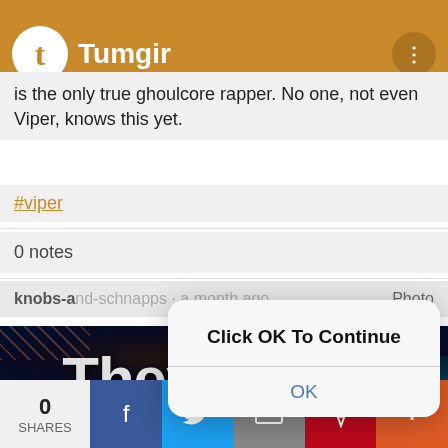Tumgir
is the only true ghoulcore rapper. No one, not even Viper, knows this yet.
#viper
0 notes
knobs-and-schnapps · a month ago  Photo
[Figure (screenshot): Dark fantasy art image with large white bold text reading 'They added' and 'sex in' overlaid, with flame and mystical imagery]
[Figure (screenshot): Modal dialog box with bold text 'Click OK To Continue' and a blue OK button below a divider]
0 SHARES  Facebook  Twitter  Email  Pinterest  More